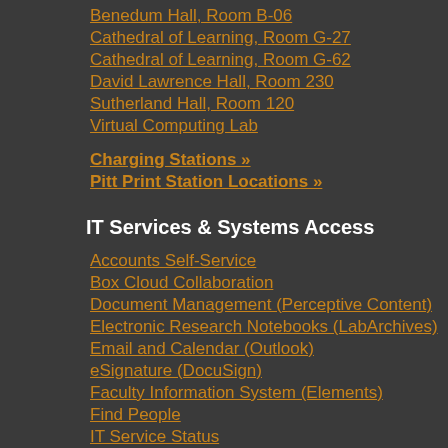Benedum Hall, Room B-06
Cathedral of Learning, Room G-27
Cathedral of Learning, Room G-62
David Lawrence Hall, Room 230
Sutherland Hall, Room 120
Virtual Computing Lab
Charging Stations »
Pitt Print Station Locations »
IT Services & Systems Access
Accounts Self-Service
Box Cloud Collaboration
Document Management (Perceptive Content)
Electronic Research Notebooks (LabArchives)
Email and Calendar (Outlook)
eSignature (DocuSign)
Faculty Information System (Elements)
Find People
IT Service Status
Learning Management System (Canvas)